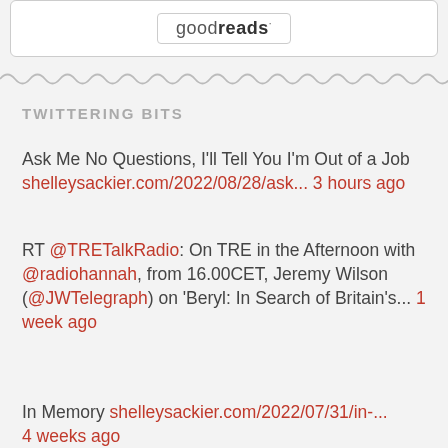[Figure (logo): goodreads logo inside a bordered box]
[Figure (other): wavy decorative divider line]
TWITTERING BITS
Ask Me No Questions, I'll Tell You I'm Out of a Job shelleysackier.com/2022/08/28/ask... 3 hours ago
RT @TRETalkRadio: On TRE in the Afternoon with @radiohannah, from 16.00CET, Jeremy Wilson (@JWTelegraph) on 'Beryl: In Search of Britain's... 1 week ago
In Memory shelleysackier.com/2022/07/31/in-... 4 weeks ago